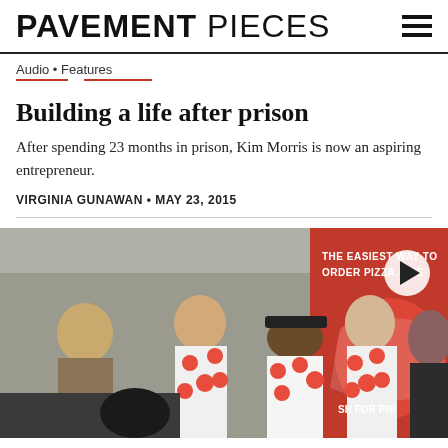PAVEMENT PIECES
Audio • Features
Building a life after prison
After spending 23 months in prison, Kim Morris is now an aspiring entrepreneur.
VIRGINIA GUNAWAN • MAY 23, 2015
[Figure (photo): Photo of people at an event booth; men wearing white shirts with red polka dots (pizza logo), red banner in background reading 'THE EASIEST WAY TO ORDER PIZZA. EVE...' and 'PUSH FOR PR...'. A play button overlay is visible in the upper right.]